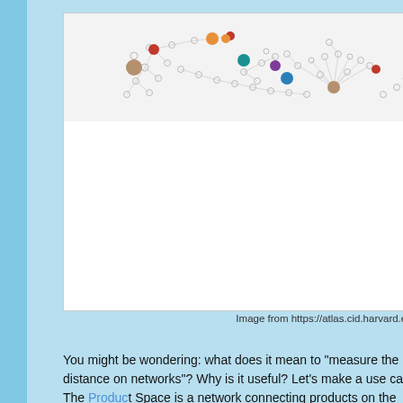[Figure (network-graph): A network graph showing nodes (circles) of various sizes and colors connected by thin gray lines, representing the Product Space — a network connecting products on the global trade network. Nodes include colored filled circles (red, orange, teal, purple, blue, yellow, brown/tan, olive) and small open circles, connected by lines forming a tree-like structure spread horizontally across the top portion of a white box.]
Image from https://atlas.cid.harvard.edu
You might be wondering: what does it mean to "measure the distance on networks"? Why is it useful? Let's make a use case. The Product Space is a network connecting products on the global trade network based on...